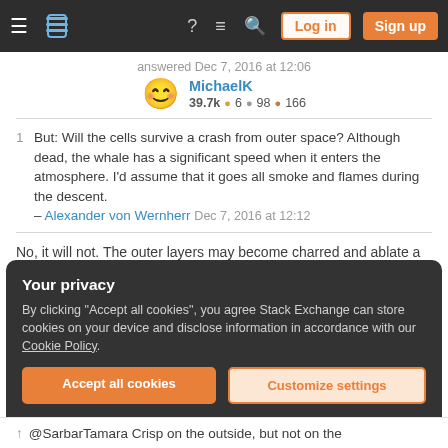Stack Exchange navigation bar with hamburger menu, logo, help, chat, search icons, Log in and Sign up buttons
answered Dec 7, 2016 at 12:06
MichaelK  39.7k  6  98  166
1  But: Will the cells survive a crash from outer space? Although dead, the whale has a significant speed when it enters the atmosphere. I'd assume that it goes all smoke and flames during the descent. – Alexander von Wernherr Dec 7, 2016 at 12:12
No, it will not. The outer layers may become charred and ablate a bit, but something as massive as 10 000 tons will undoubtedly make it all the way down.
Your privacy
By clicking "Accept all cookies", you agree Stack Exchange can store cookies on your device and disclose information in accordance with our Cookie Policy.
Accept all cookies   Customize settings
@SarbarTamara Crisp on the outside, but not on the